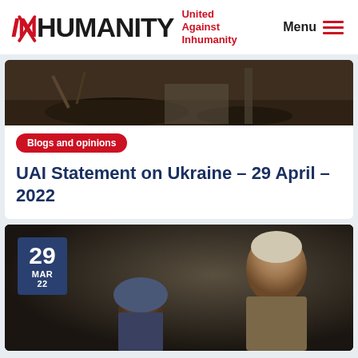INHUMANITY — United Against Inhumanity | Menu
[Figure (photo): Dark rubble and debris, war damage scene]
Blogs and opinions
UAI Statement on Ukraine – 29 April –2022
[Figure (photo): Two people, an elderly man and a woman with headscarf, photographed in dark moody lighting. Date badge shows 29 MAR 22.]